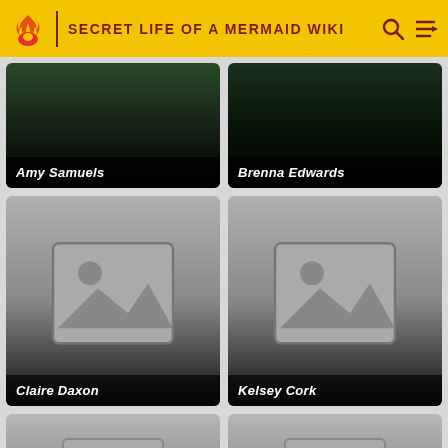Secret Life of a Mermaid Wiki
[Figure (photo): Amy Samuels character card with dark forest photo background]
[Figure (photo): Brenna Edwards character card with dark forest photo background]
[Figure (photo): Claire Daxon character card with placeholder image icon]
[Figure (photo): Kelsey Cork character card with placeholder image icon]
[Figure (photo): Partial character card bottom row left, placeholder icon visible]
[Figure (photo): Partial character card bottom row right, placeholder icon visible]